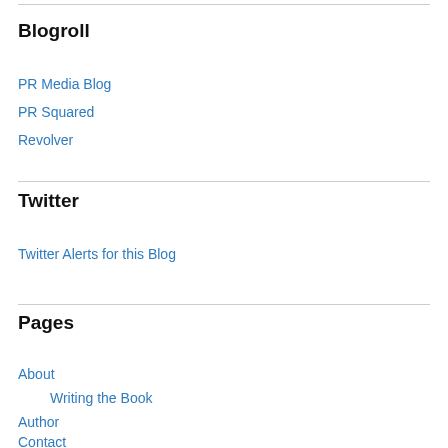Blogroll
PR Media Blog
PR Squared
Revolver
Twitter
Twitter Alerts for this Blog
Pages
About
Writing the Book
Author
Contact
Events
Links